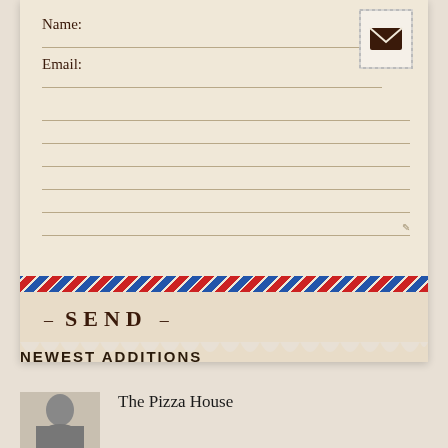[Figure (infographic): Contact form styled as a vintage postcard with Name and Email fields, lined textarea, stamp icon, air-mail border stripe, and SEND button]
NEWEST ADDITIONS
[Figure (photo): Black and white thumbnail photo of a person]
The Pizza House